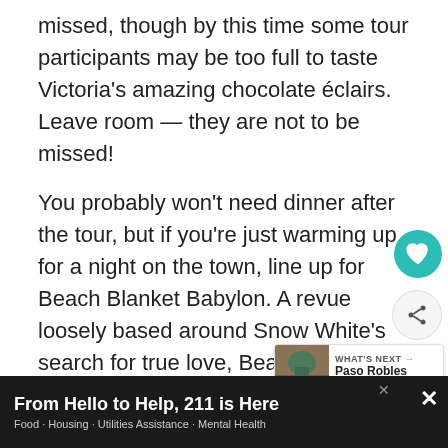missed, though by this time some tour participants may be too full to taste Victoria's amazing chocolate éclairs. Leave room — they are not to be missed!
You probably won't need dinner after the tour, but if you're just warming up for a night on the town, line up for Beach Blanket Babylon. A revue loosely based around Snow White's search for true love, Beach Blanket Babylon mixes in current events, hot topics (Britney Spears and Harry Potter, anyone?) and giant fun, unmistakably San Francisco experience. If that's not to your taste
[Figure (infographic): Teal circular heart/favorite button icon on the right side of the page]
[Figure (infographic): Share icon button (circular with share symbol) on the right side of the page]
[Figure (infographic): What's Next panel showing a landscape photo thumbnail with text 'WHAT'S NEXT → Paso Robles Wine Country']
[Figure (infographic): Advertisement banner at bottom: 'From Hello to Help, 211 is Here' with subtitle 'Food · Housing · Utilities Assistance · Mental Health']